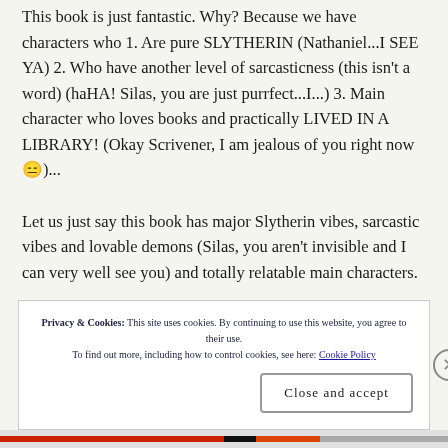This book is just fantastic. Why? Because we have characters who 1. Are pure SLYTHERIN (Nathaniel...I SEE YA) 2. Who have another level of sarcasticness (this isn't a word) (haHA! Silas, you are just purrfect...I...) 3. Main character who loves books and practically LIVED IN A LIBRARY! (Okay Scrivener, I am jealous of you right now 😑)...
Let us just say this book has major Slytherin vibes, sarcastic vibes and lovable demons (Silas, you aren't invisible and I can very well see you) and totally relatable main characters.
Privacy & Cookies: This site uses cookies. By continuing to use this website, you agree to their use. To find out more, including how to control cookies, see here: Cookie Policy
Close and accept